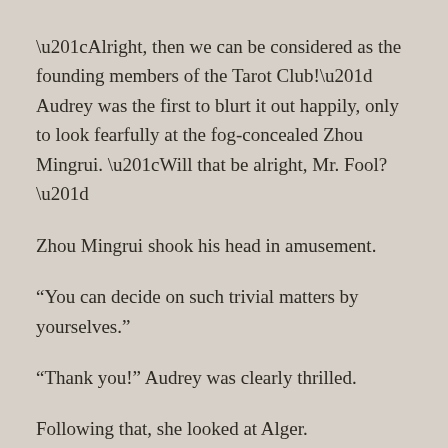“Alright, then we can be considered as the founding members of the Tarot Club!” Audrey was the first to blurt it out happily, only to look fearfully at the fog-concealed Zhou Mingrui. “Will that be alright, Mr. Fool?”
Zhou Mingrui shook his head in amusement.
“You can decide on such trivial matters by yourselves.”
“Thank you!” Audrey was clearly thrilled.
Following that, she looked at Alger.
“Mr. Hanged Man, can you repeat the address again once more? I’m afraid that my memories will fail me.”